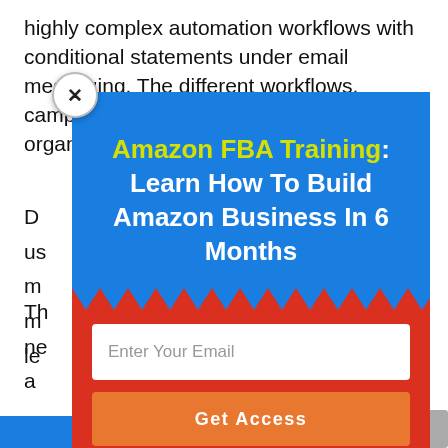highly complex automation workflows with conditional statements under email messaging. The different workflows, campaigns, and triggers are all well-organized.
D... us... m... m... le...
Th... ne... a...
[Figure (screenshot): A modal popup overlay with a blue header section containing the title 'Amazon FBA Training: Learn How To Build Amazon Business In 6 Months' with a zigzag red/blue border transition, followed by a red section with an email input field and an orange 'Get Access' button. A close (X) button appears in the top-left corner of the modal.]